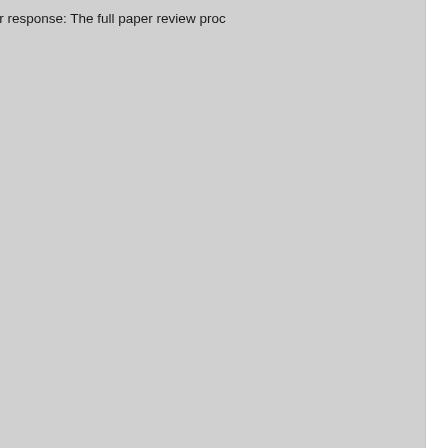Author response: The full paper review proc... responses will be limited to clear factual err... authors. Author responses are visible to AC...
Confidentiality policy: All submissions will be...
Conflict of interest policy: All individuals invo... Details can be found at http://ijcai.org/.
Frequently Asked Questions
Please check the Frequently Asked Questio...
IJCAI 2022   31st International Joint Confe...
IEEE ICA 2022   The 6th IEEE Internationa...
AI-DH 2022   MDPI Big Data and Cognitiv...
FLAIRS-36   36th International Florida Arti...
About Us | Contact Us | Data | Privacy Policy | Terms a... Partners: AI2's Semantic Scholar This wiki is licensed under a Creative Commons Attribu...